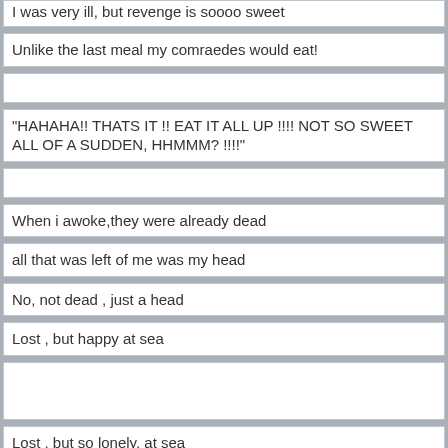I was very ill, but revenge is soooo sweet
Unlike the last meal my comraedes would eat!
"HAHAHA!! THATS IT !! EAT IT ALL UP !!!! NOT SO SWEET ALL OF A SUDDEN, HHMMM? !!!!"
When i awoke,they were already dead
all that was left of me was my head
No, not dead , just a head
Lost , but happy at sea
Lost, but so lonely, at sea